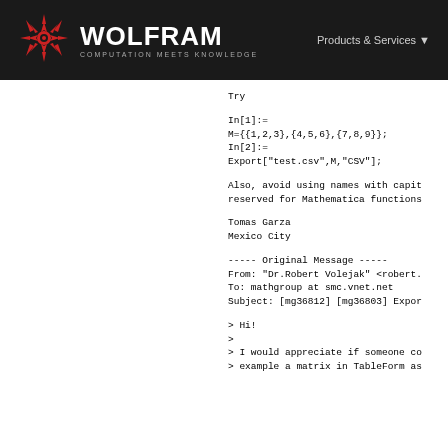WOLFRAM COMPUTATION MEETS KNOWLEDGE | Products & Services
Try
In[1]:=
M={{1,2,3},{4,5,6},{7,8,9}};
In[2]:=
Export["test.csv",M,"CSV"];
Also, avoid using names with capit
reserved for Mathematica functions
Tomas Garza
Mexico City
----- Original Message -----
From: "Dr.Robert Volejak" <robert.
To: mathgroup at smc.vnet.net
Subject: [mg36812] [mg36803] Expor
> Hi!
>
> I would appreciate if someone co
> example a matrix in TableForm as